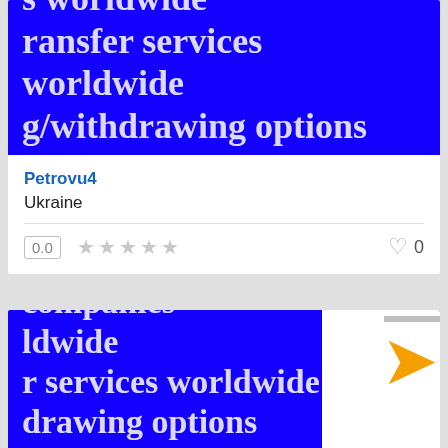[Figure (screenshot): Blue banner with partial white text lines: 's worldwide', 'transfer services worldwide', 'g/withdrawing options']
Petrovu4
Ukraine
0.0 ★★★★★  ♥ 0
[Figure (screenshot): Blue banner with partial white text lines: 'for MLM/', 'companies', 'ldwide', 'r services worldwide', 'drawing options', overlaid by a white card fragment showing a V-shaped orange/yellow logo]